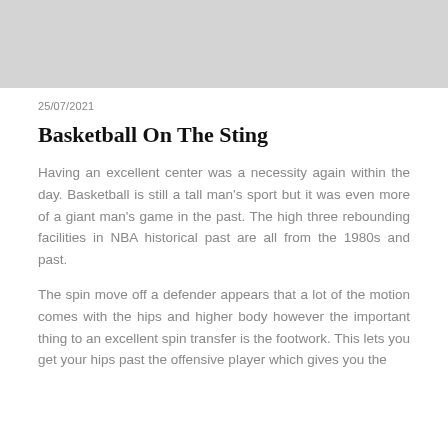[Figure (photo): Gray placeholder image at the top of the page]
25/07/2021
Basketball On The Sting
Having an excellent center was a necessity again within the day. Basketball is still a tall man's sport but it was even more of a giant man's game in the past. The high three rebounding facilities in NBA historical past are all from the 1980s and past.
The spin move off a defender appears that a lot of the motion comes with the hips and higher body however the important thing to an excellent spin transfer is the footwork. This lets you get your hips past the offensive player which gives you the